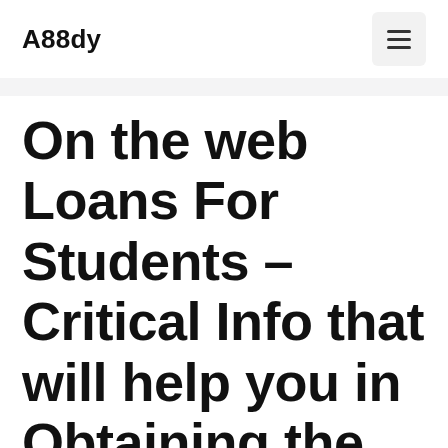A88dy
On the web Loans For Students – Critical Info that will help you in Obtaining the Loan